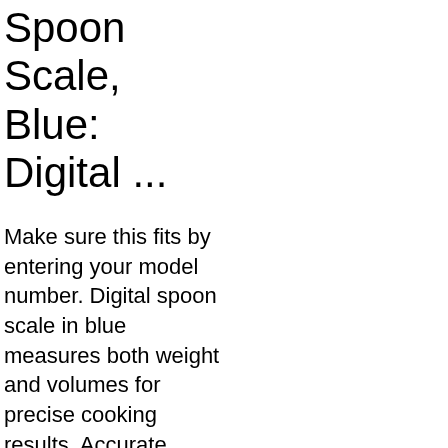Spoon Scale, Blue: Digital ...
Make sure this fits by entering your model number. Digital spoon scale in blue measures both weight and volumes for precise cooking results. Accurate, easy-to-read digital display works in grams and ounces. Includes two spoons: 3-